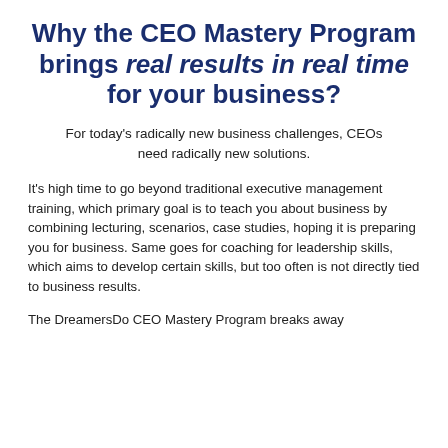Why the CEO Mastery Program brings real results in real time for your business?
For today's radically new business challenges, CEOs need radically new solutions.
It's high time to go beyond traditional executive management training, which primary goal is to teach you about business by combining lecturing, scenarios, case studies, hoping it is preparing you for business. Same goes for coaching for leadership skills, which aims to develop certain skills, but too often is not directly tied to business results.
The DreamersDo CEO Mastery Program breaks away from this. Our only goal is to ensure your business results.